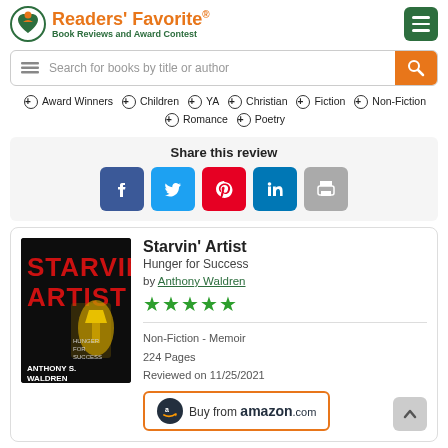Readers' Favorite® Book Reviews and Award Contest
Search for books by title or author
⊕ Award Winners ⊕ Children ⊕ YA ⊕ Christian ⊕ Fiction ⊕ Non-Fiction ⊕ Romance ⊕ Poetry
Share this review
Social share buttons: Facebook, Twitter, Pinterest, LinkedIn, Print
Starvin' Artist
Hunger for Success
by Anthony Waldren
★★★★★
Non-Fiction - Memoir
224 Pages
Reviewed on 11/25/2021
[Figure (screenshot): Book cover for Starvin' Artist: Hunger for Success by Anthony S. Waldren — dark background with large red bold text STARVIN' ARTIST, gold trophy/hand graphic, and subtitle HUNGER FOR SUCCESS]
Buy from amazon.com